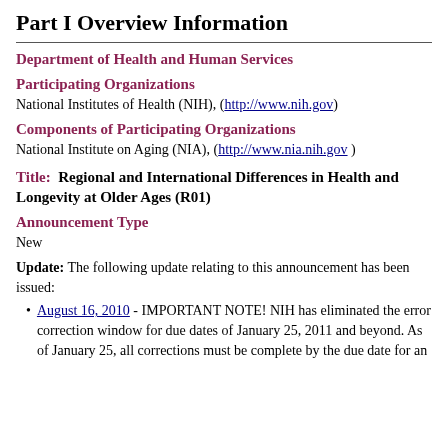Part I Overview Information
Department of Health and Human Services
Participating Organizations
National Institutes of Health (NIH), (http://www.nih.gov)
Components of Participating Organizations
National Institute on Aging (NIA), (http://www.nia.nih.gov )
Title:  Regional and International Differences in Health and Longevity at Older Ages (R01)
Announcement Type
New
Update: The following update relating to this announcement has been issued:
August 16, 2010 - IMPORTANT NOTE! NIH has eliminated the error correction window for due dates of January 25, 2011 and beyond. As of January 25, all corrections must be complete by the due date for an